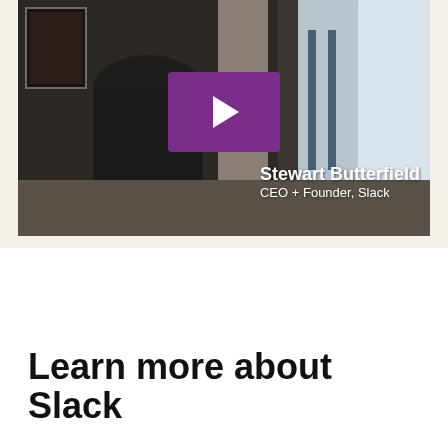[Figure (screenshot): Video thumbnail showing Stewart Butterfield, CEO + Founder of Slack, sitting in a room. A purple play button is overlaid in the center of the image.]
Learn more about Slack